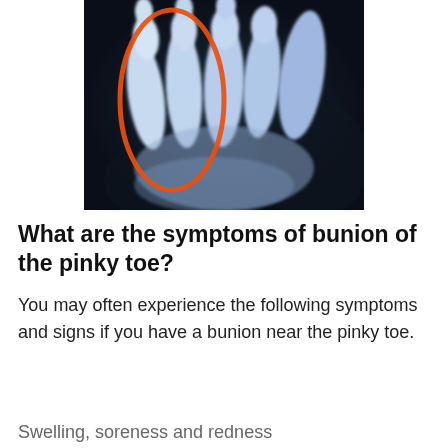[Figure (photo): X-ray image of a foot showing toes, with an orange oval circle highlighting the pinky toe area, indicating a bunion (tailor's bunion). The x-ray has a dark blue/black background with white bone structures visible.]
What are the symptoms of bunion of the pinky toe?
You may often experience the following symptoms and signs if you have a bunion near the pinky toe.
Swelling, soreness and redness...